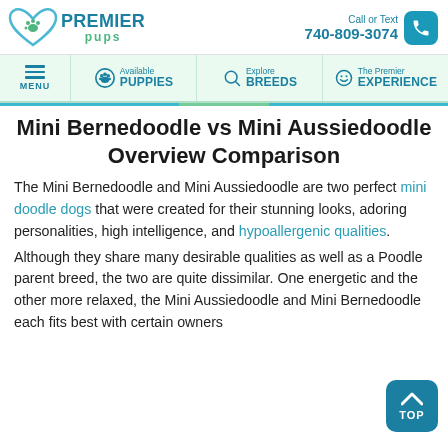Premier Pups — Call or Text 740-809-3074
MENU | Available PUPPIES | Explore BREEDS | The Premier EXPERIENCE
Mini Bernedoodle vs Mini Aussiedoodle Overview Comparison
The Mini Bernedoodle and Mini Aussiedoodle are two perfect mini doodle dogs that were created for their stunning looks, adoring personalities, high intelligence, and hypoallergenic qualities. Although they share many desirable qualities as well as a Poodle parent breed, the two are quite dissimilar. One energetic and the other more relaxed, the Mini Aussiedoodle and Mini Bernedoodle each fits best with certain owners